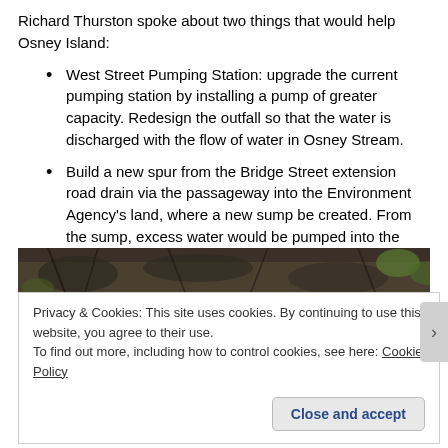Richard Thurston spoke about two things that would help Osney Island:
West Street Pumping Station: upgrade the current pumping station by installing a pump of greater capacity. Redesign the outfall so that the water is discharged with the flow of water in Osney Stream.
Build a new spur from the Bridge Street extension road drain via the passageway into the Environment Agency's land, where a new sump be created. From the sump, excess water would be pumped into the weir pool.
[Figure (photo): A narrow horizontal strip of a nature/outdoor photo showing dark branches and foliage.]
Privacy & Cookies: This site uses cookies. By continuing to use this website, you agree to their use.
To find out more, including how to control cookies, see here: Cookie Policy
Close and accept